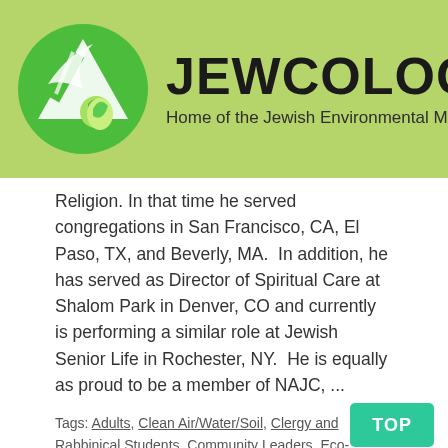JEWCOLOGY.ORG - Home of the Jewish Environmental Movement
Religion. In that time he served congregations in San Francisco, CA, El Paso, TX, and Beverly, MA.  In addition, he has served as Director of Spiritual Care at Shalom Park in Denver, CO and currently is performing a similar role at Jewish Senior Life in Rochester, NY.  He is equally as proud to be a member of NAJC, ...
Tags: Adults, Clean Air/Water/Soil, Clergy and Rabbinical Students, Community Leaders, Eco-Theology, Education, Elul, Institutions, Interfaith, Lay Leaders, Seniors, Spirituality, Teachers / Educators, Teenagers, Teshuvah, University Students, Young Adults
READ MORE
TOP